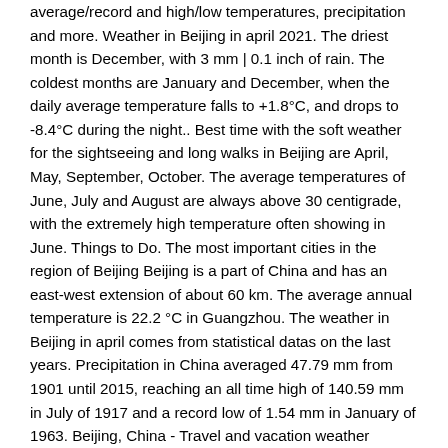average/record and high/low temperatures, precipitation and more. Weather in Beijing in april 2021. The driest month is December, with 3 mm | 0.1 inch of rain. The coldest months are January and December, when the daily average temperature falls to +1.8°C, and drops to -8.4°C during the night.. Best time with the soft weather for the sightseeing and long walks in Beijing are April, May, September, October. The average temperatures of June, July and August are always above 30 centigrade, with the extremely high temperature often showing in June. Things to Do. The most important cities in the region of Beijing Beijing is a part of China and has an east-west extension of about 60 km. The average annual temperature is 22.2 °C in Guangzhou. The weather in Beijing in april comes from statistical datas on the last years. Precipitation in China averaged 47.79 mm from 1901 until 2015, reaching an all time high of 140.59 mm in July of 1917 and a record low of 1.54 mm in January of 1963. Beijing, China - Travel and vacation weather averages, current conditions and forecasts. Beijing Temperature Yesterday. June - August is the busiest season for tourism in Beijing, so